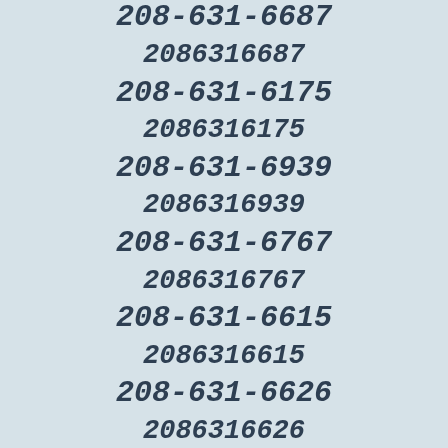208-631-6202
2086316202
208-631-6687
2086316687
208-631-6175
2086316175
208-631-6939
2086316939
208-631-6767
2086316767
208-631-6615
2086316615
208-631-6626
2086316626
208-631-6897
2086316897